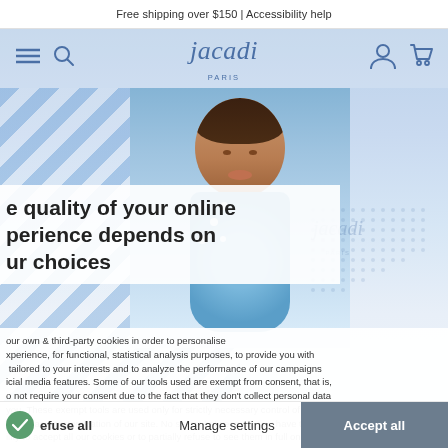Free shipping over $150 | Accessibility help
[Figure (screenshot): Jacadi Paris website navigation with logo, hamburger menu, search, user and cart icons on blue-tinted background]
[Figure (photo): Young Asian girl in blue polka-dot dress smiling, used as hero image on Jacadi Paris website]
e quality of your online perience depends on ur choices
our own & third-party cookies in order to personalise xperience, for functional, statistical analysis purposes, to provide you with tailored to your interests and to analyze the performance of our campaigns icial media features. Some of our tools used are exempt from consent, that is, o not require your consent due to the fact that they don't collect personal data you. These exempt tools are used only for strictly necessary control of our nance and customization of our site. No secret between us, you have the ility to accept all our cookies or to partially refuse to see them in full on your
efuse all
Manage settings
Accept all